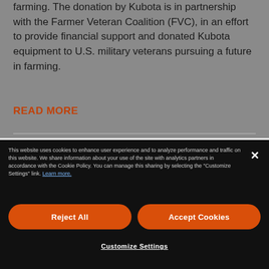farming. The donation by Kubota is in partnership with the Farmer Veteran Coalition (FVC), in an effort to provide financial support and donated Kubota equipment to U.S. military veterans pursuing a future in farming.
READ MORE
This website uses cookies to enhance user experience and to analyze performance and traffic on this website. We share information about your use of the site with analytics partners in accordance with the Cookie Policy. You can manage this sharing by selecting the "Customize Settings" link. Learn more.
Reject All
Accept Cookies
Customize Settings